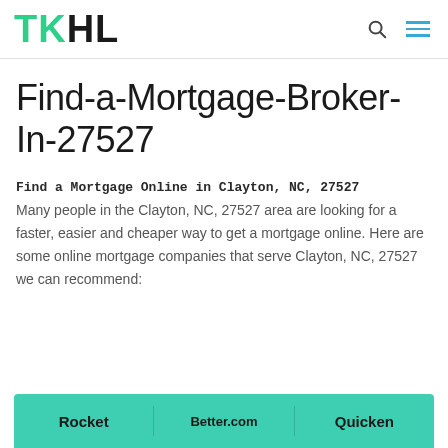TKHL
Find-a-Mortgage-Broker-In-27527
Find a Mortgage Online in Clayton, NC, 27527
Many people in the Clayton, NC, 27527 area are looking for a faster, easier and cheaper way to get a mortgage online. Here are some online mortgage companies that serve Clayton, NC, 27527 we can recommend:
| Rocket | Better.com | Quicken |
| --- | --- | --- |